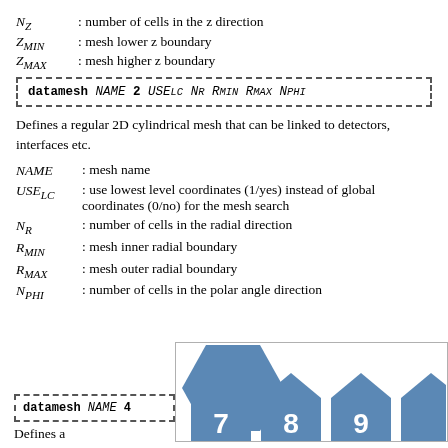N_Z : number of cells in the z direction
Z_MIN : mesh lower z boundary
Z_MAX : mesh higher z boundary
datamesh NAME 2 USE_LC N_R R_MIN R_MAX N_PHI
Defines a regular 2D cylindrical mesh that can be linked to detectors, interfaces etc.
NAME : mesh name
USE_LC : use lowest level coordinates (1/yes) instead of global coordinates (0/no) for the mesh search
N_R : number of cells in the radial direction
R_MIN : mesh inner radial boundary
R_MAX : mesh outer radial boundary
N_PHI : number of cells in the polar angle direction
datamesh NAME 4
Defines a
[Figure (illustration): Three hexagonal tiles numbered 7, 8, 9 in steel blue color arranged side by side]